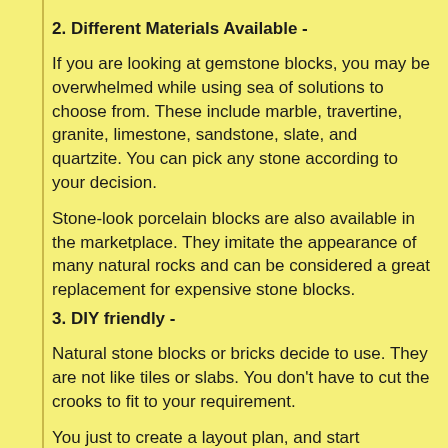2. Different Materials Available -
If you are looking at gemstone blocks, you may be overwhelmed while using sea of solutions to choose from. These include marble, travertine, granite, limestone, sandstone, slate, and quartzite. You can pick any stone according to your decision.
Stone-look porcelain blocks are also available in the marketplace. They imitate the appearance of many natural rocks and can be considered a great replacement for expensive stone blocks.
3. DIY friendly -
Natural stone blocks or bricks decide to use. They are not like tiles or slabs. You don't have to cut the crooks to fit to your requirement.
You just to create a layout plan, and start installing them.